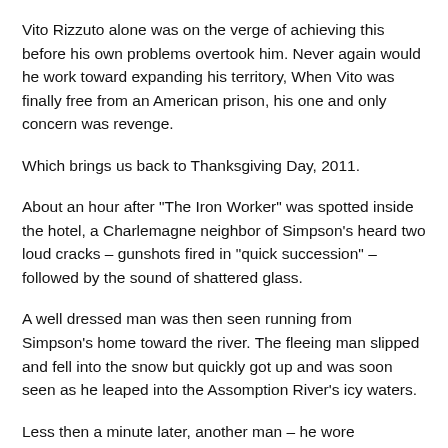Vito Rizzuto alone was on the verge of achieving this before his own problems overtook him. Never again would he work toward expanding his territory, When Vito was finally free from an American prison, his one and only concern was revenge.
Which brings us back to Thanksgiving Day, 2011.
About an hour after "The Iron Worker" was spotted inside the hotel, a Charlemagne neighbor of Simpson's heard two loud cracks – gunshots fired in "quick succession" – followed by the sound of shattered glass.
A well dressed man was then seen running from Simpson's home toward the river. The fleeing man slipped and fell into the snow but quickly got up and was soon seen as he leaped into the Assomption River's icy waters.
Less then a minute later, another man – he wore eyeglasses